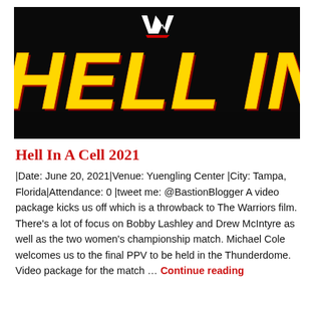[Figure (illustration): WWE Hell In A Cell 2021 event logo on black background — large yellow and red block letters spelling 'HELL IN A CEL' with WWE logo (white W with red underline) centered at the top]
Hell In A Cell 2021
|Date: June 20, 2021|Venue: Yuengling Center |City: Tampa, Florida|Attendance: 0 |tweet me: @BastionBlogger A video package kicks us off which is a throwback to The Warriors film. There's a lot of focus on Bobby Lashley and Drew McIntyre as well as the two women's championship match. Michael Cole welcomes us to the final PPV to be held in the Thunderdome. Video package for the match … Continue reading